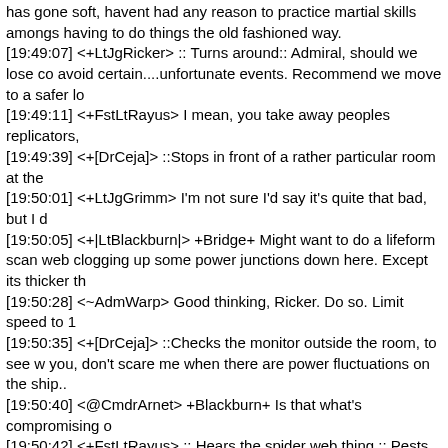has gone soft, havent had any reason to practice martial skills amongs having to do things the old fashioned way.
[19:49:07] <+LtJgRicker> :: Turns around:: Admiral, should we lose co avoid certain....unfortunate events. Recommend we move to a safer lo
[19:49:11] <+FstLtRayus> I mean, you take away peoples replicators,
[19:49:39] <+[DrCeja]> ::Stops in front of a rather particular room at the
[19:50:01] <+LtJgGrimm> I'm not sure I'd say it's quite that bad, but I d
[19:50:05] <+|LtBlackburn|> +Bridge+ Might want to do a lifeform scan web clogging up some power junctions down here. Except its thicker th
[19:50:28] <~AdmWarp> Good thinking, Ricker. Do so. Limit speed to 1
[19:50:35] <+[DrCeja]> ::Checks the monitor outside the room, to see w you, don't scare me when there are power fluctuations on the ship..
[19:50:40] <@CmdrArnet> +Blackburn+ Is that what's compromising o
[19:50:42] <+FstLtRayus> :: Hears the spider web thing :: Pests to exte
[19:50:46] <+LtJgRicker> Aye Admiral. :: Does the button pushing::
[19:50:57] <+FstLtAklar> ::He overhears Blackburn's report and then tu an elimination scan.
[19:51:13] <@CmdrArnet> ACTION> CEJA'S MONITOR SHOWS THA DETERIORATING!
[19:51:32] <+LtCmdrRollands> ((Back))
[19:51:33] <+[DrCeja]> JONES! Get the.. uh.. bring stuff! Henry's cart!
[19:51:53] <+|LtBlackburn|> +Bridge+ Quite possibly part of it at least.
[19:52:08] <@CmdrArnet> +Arnet+ Can you ... remove the webs?
[19:52:22] <+[DrCeja]> ::Opens the door and heads into the room, as s equipment::